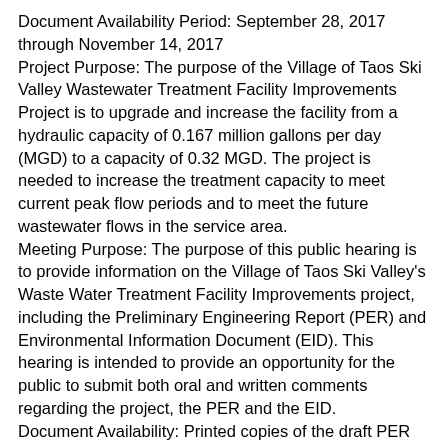Document Availability Period: September 28, 2017 through November 14, 2017
Project Purpose: The purpose of the Village of Taos Ski Valley Wastewater Treatment Facility Improvements Project is to upgrade and increase the facility from a hydraulic capacity of 0.167 million gallons per day (MGD) to a capacity of 0.32 MGD. The project is needed to increase the treatment capacity to meet current peak flow periods and to meet the future wastewater flows in the service area.
Meeting Purpose: The purpose of this public hearing is to provide information on the Village of Taos Ski Valley's Waste Water Treatment Facility Improvements project, including the Preliminary Engineering Report (PER) and Environmental Information Document (EID). This hearing is intended to provide an opportunity for the public to submit both oral and written comments regarding the project, the PER and the EID.
Document Availability: Printed copies of the draft PER and EID for this project are available at the Taos Public Library, 402 Camino de la Placita, Taos, NM 87571, at the Village of